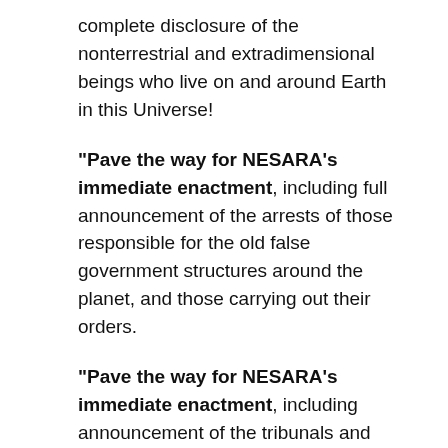complete disclosure of the nonterrestrial and extradimensional beings who live on and around Earth in this Universe!
"Pave the way for NESARA's immediate enactment, including full announcement of the arrests of those responsible for the old false government structures around the planet, and those carrying out their orders.
"Pave the way for NESARA's immediate enactment, including announcement of the tribunals and trials that these ones and their false overlords will now face.
"Pave the way for NESARA's immediate enactment by steadying the heart-mind of every child, woman, and man on the Earth so that they are not only ready for complete renewal of all life on this planet, but ready to